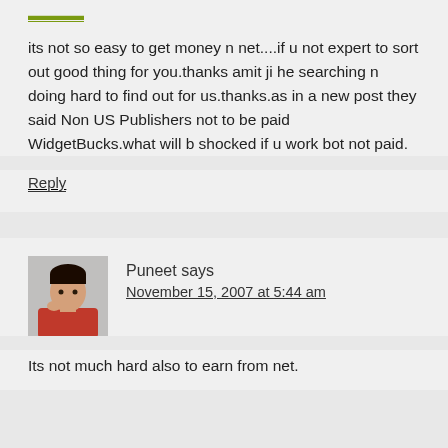its not so easy to get money n net....if u not expert to sort out good thing for you.thanks amit ji he searching n doing hard to find out for us.thanks.as in a new post they said Non US Publishers not to be paid WidgetBucks.what will b shocked if u work bot not paid.
Reply
Puneet says
November 15, 2007 at 5:44 am
Its not much hard also to earn from net.